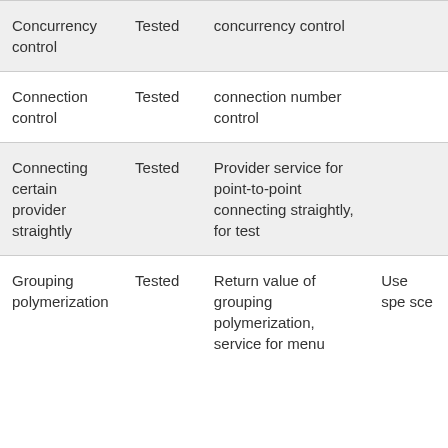| Concurrency control | Tested | concurrency control |  |
| Connection control | Tested | connection number control |  |
| Connecting certain provider straightly | Tested | Provider service for point-to-point connecting straightly, for test |  |
| Grouping polymerization | Tested | Return value of grouping polymerization, service for menu | Use spe sce |